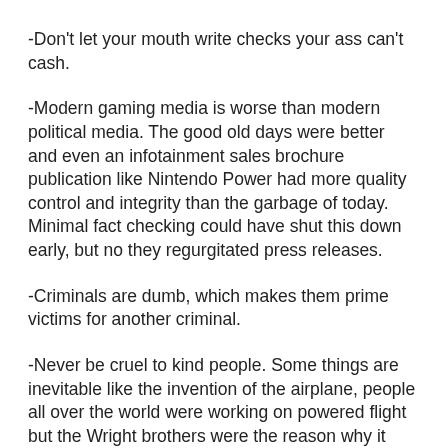-Don't let your mouth write checks your ass can't cash.
-Modern gaming media is worse than modern political media. The good old days were better and even an infotainment sales brochure publication like Nintendo Power had more quality control and integrity than the garbage of today. Minimal fact checking could have shut this down early, but no they regurgitated press releases.
-Criminals are dumb, which makes them prime victims for another criminal.
-Never be cruel to kind people. Some things are inevitable like the invention of the airplane, people all over the world were working on powered flight but the Wright brothers were the reason why it happened. The Chameleon debacle was going to be exposed by something, but the